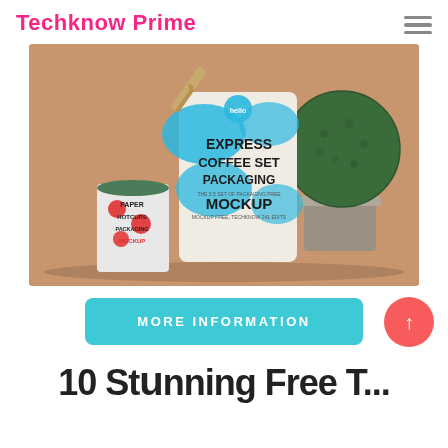Techknow Prime
[Figure (photo): Product mockup scene on a tan/brown background showing a paper cup with red polka dots and text 'PAPER HOTCUPS PACKAGING MOCKUP', a white pouch bag with blue paint-splash design reading 'EXPRESS COFFEE SET PACKAGING MOCKUP', a wooden clothespin, and a round green topiary plant in a concrete pot.]
MORE INFORMATION
10 Stunning Free T...